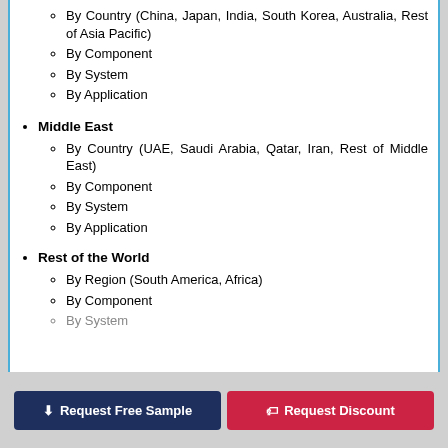By Country (China, Japan, India, South Korea, Australia, Rest of Asia Pacific)
By Component
By System
By Application
Middle East
By Country (UAE, Saudi Arabia, Qatar, Iran, Rest of Middle East)
By Component
By System
By Application
Rest of the World
By Region (South America, Africa)
By Component
By System
Request Free Sample | Request Discount